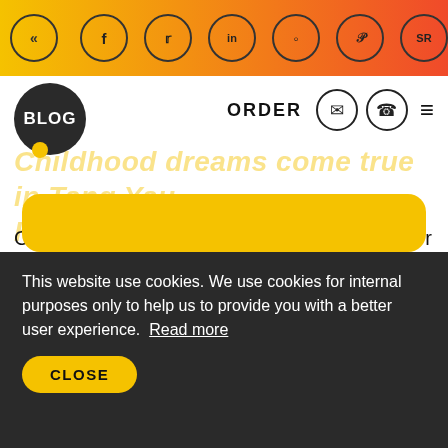« f in SR EN DE (social icons navigation bar)
[Figure (logo): BLOG circle logo in dark background]
ORDER
Childhood dreams come true in Tang Yau Hoong's illustrations
Can you remember your childhood dreams? Or have they perished years ago? And would you like to remember them? Meet Tang Yau Hoong, a rising digital artist from Kuala Lumpur, M...
AUGUST 27, 2018
This website use cookies. We use cookies for internal purposes only to help us to provide you with a better user experience. Read more
CLOSE